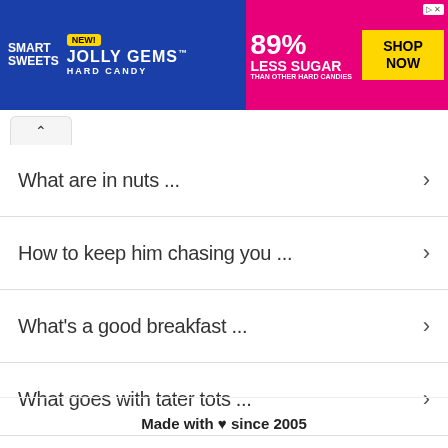[Figure (photo): SmartSweets Jolly Gems Hard Candy advertisement banner. Blue and pink background. 'NEW! JOLLY GEMS HARD CANDY' on left with SmartSweets logo. '89% LESS SUGAR THAN OTHER HARD CANDIES' and 'SHOP NOW' button on right.]
What are in nuts ...
How to keep him chasing you ...
What's a good breakfast ...
What goes with tater tots ...
Made with ♥ since 2005